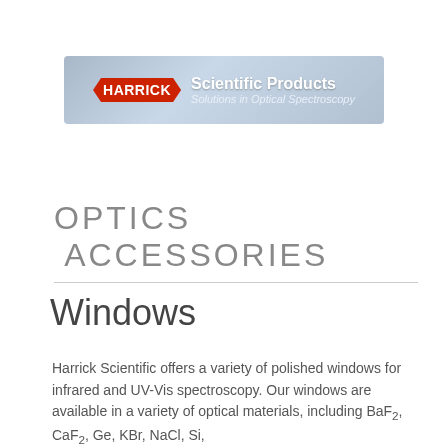[Figure (logo): Harrick Scientific Products banner logo with blue-grey gradient background, red hexagonal Harrick logo badge, white text reading 'Scientific Products' and italic subtitle 'Solutions in Optical Spectroscopy']
OPTICS ACCESSORIES
Windows
Harrick Scientific offers a variety of polished windows for infrared and UV-Vis spectroscopy. Our windows are available in a variety of optical materials, including BaF₂, CaF₂, Ge, KBr, NaCl, Si,